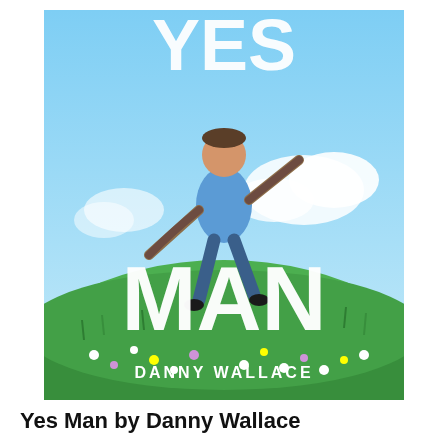[Figure (photo): Book cover of 'Yes Man' by Danny Wallace. Shows a man in a blue shirt and brown jacket jumping joyfully in a flower meadow under a bright blue sky. Large white text reads 'YES MAN' with 'DANNY WALLACE' at the bottom. The top of the image is partially cropped showing 'YES' at the top.]
Yes Man by Danny Wallace